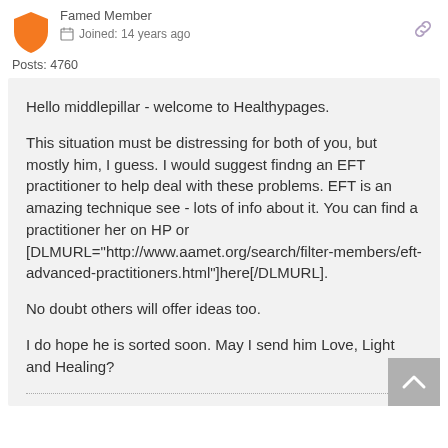Famed Member
Joined: 14 years ago
Posts: 4760
Hello middlepillar - welcome to Healthypages.

This situation must be distressing for both of you, but mostly him, I guess. I would suggest findng an EFT practitioner to help deal with these problems. EFT is an amazing technique see - lots of info about it. You can find a practitioner her on HP or [DLMURL="http://www.aamet.org/search/filter-members/eft-advanced-practitioners.html"]here[/DLMURL].

No doubt others will offer ideas too.

I do hope he is sorted soon. May I send him Love, Light and Healing?